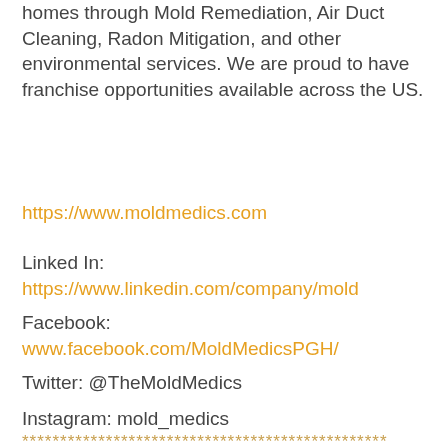homes through Mold Remediation, Air Duct Cleaning, Radon Mitigation, and other environmental services. We are proud to have franchise opportunities available across the US.
https://www.moldmedics.com
Linked In:
https://www.linkedin.com/company/mold
Facebook:
www.facebook.com/MoldMedicsPGH/
Twitter: @TheMoldMedics
Instagram: mold_medics
************************************************